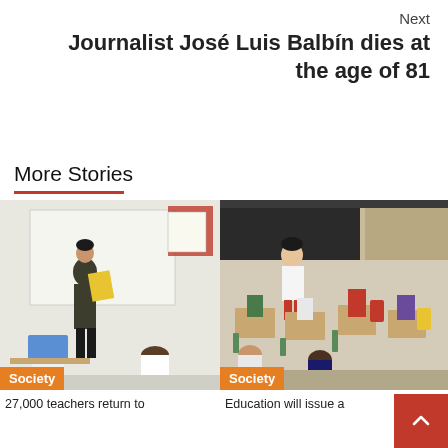Next
Journalist José Luis Balbín dies at the age of 81
More Stories
[Figure (photo): Teacher standing in front of whiteboard holding a yellow folder, students seated at desks, classroom setting, person wearing mask]
Society
[Figure (photo): Elementary school classroom with students seated at individual desks viewed from behind, teacher at front near blackboard]
Society
27,000 teachers return to
Education will issue a